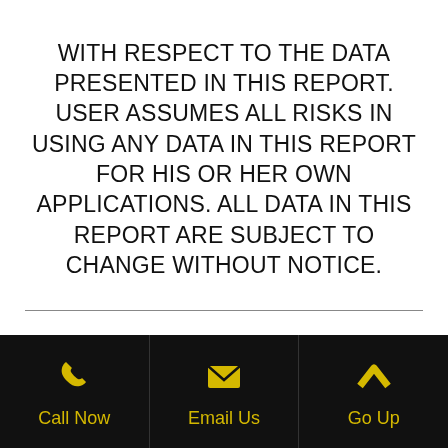WITH RESPECT TO THE DATA PRESENTED IN THIS REPORT. USER ASSUMES ALL RISKS IN USING ANY DATA IN THIS REPORT FOR HIS OR HER OWN APPLICATIONS. ALL DATA IN THIS REPORT ARE SUBJECT TO CHANGE WITHOUT NOTICE.
Legend
Call Now
Email Us
Go Up